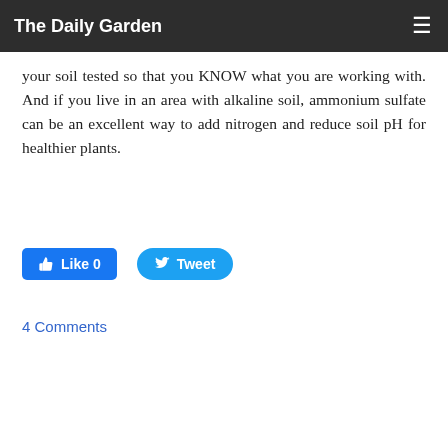The Daily Garden
your soil tested so that you KNOW what you are working with. And if you live in an area with alkaline soil, ammonium sulfate can be an excellent way to add nitrogen and reduce soil pH for healthier plants.
[Figure (screenshot): Social sharing buttons: Facebook Like (0) and Twitter Tweet]
4 Comments